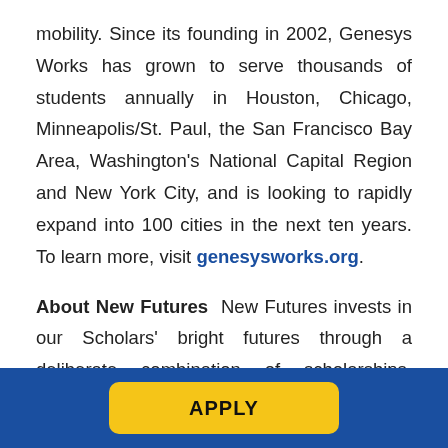mobility. Since its founding in 2002, Genesys Works has grown to serve thousands of students annually in Houston, Chicago, Minneapolis/St. Paul, the San Francisco Bay Area, Washington's National Capital Region and New York City, and is looking to rapidly expand into 100 cities in the next ten years. To learn more, visit genesysworks.org.
About New Futures  New Futures invests in our Scholars' bright futures through a deliberate combination of scholarships, academic and career advising, opportunities to build networks and skills, and a lot of heart–all along the path through community college and into rewarding and in-demand careers.
APPLY